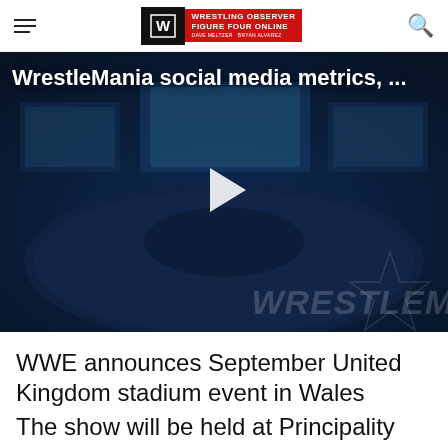Wrestling Observer Figure Four Online — Dave Meltzer · Bryan Alvarez
[Figure (screenshot): WrestleMania arena aerial photo with large crowd, blue lighting, giant video screens, play button overlay. Text overlay: 'WrestleMania social media metrics, ...' and 'WRESTLEM' watermark bottom right.]
WWE announces September United Kingdom stadium event in Wales
The show will be held at Principality Stadium in Cardiff.